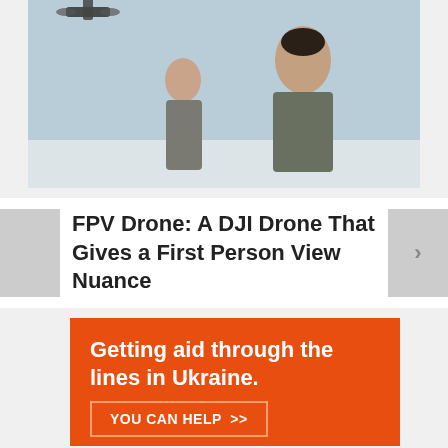[Figure (photo): Two people in grey/olive outfits standing outdoors with a drone flying in the background against a pale blue sky.]
FPV Drone: A DJI Drone That Gives a First Person View Nuance
[Figure (infographic): Orange advertisement banner reading 'Getting aid through the lines in Ukraine.' with a button 'YOU CAN HELP >>']